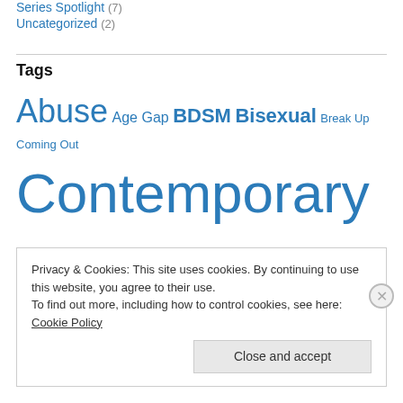Series Spotlight (7)
Uncategorized (2)
Tags
Abuse Age Gap BDSM Bisexual Break Up Coming Out Contemporary Contest Cover Reveal Erotica Established Couple F/F Fantasy First Time Futuristic Gay HEA HFN Historical Holiday: Winter Homophobia Humor
Privacy & Cookies: This site uses cookies. By continuing to use this website, you agree to their use.
To find out more, including how to control cookies, see here: Cookie Policy